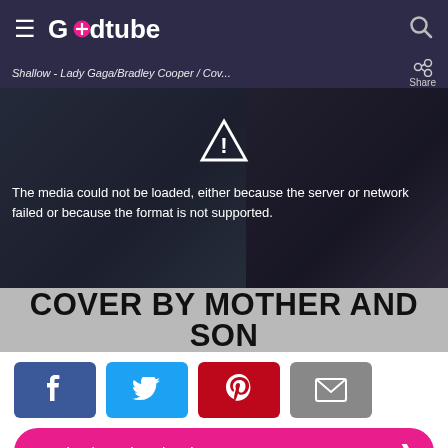Godtube
Shallow - Lady Gaga/Bradley Cooper / Cov...
[Figure (screenshot): Video player showing two people (a woman on the left and a man on the right) singing into microphones in a recording studio. The video failed to load with error message: 'The media could not be loaded, either because the server or network failed or because the format is not supported.']
COVER BY MOTHER AND SON
[Figure (infographic): Social sharing buttons: Facebook (blue), Twitter (cyan), Pinterest (red), Email (grey)]
Read today's devotional...
[Figure (screenshot): Black video thumbnail at the bottom of the page]